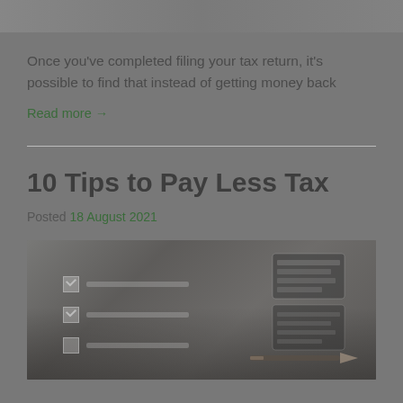[Figure (photo): Partial top image of a previous article, cropped at the top of the page]
Once you've completed filing your tax return, it's possible to find that instead of getting money back
Read more →
10 Tips to Pay Less Tax
Posted 18 August 2021
[Figure (photo): Photo showing a checklist form and a calculator on a desk, related to tax tips article]